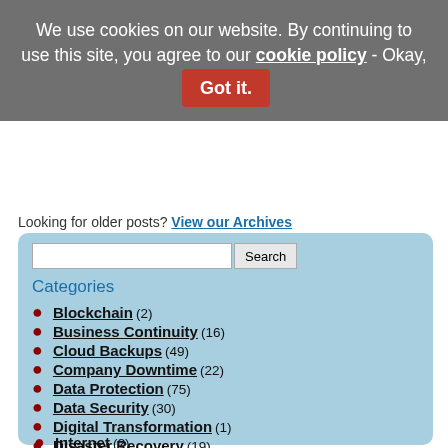We use cookies on our website. By continuing to use this site, you agree to our cookie policy - Okay, Got it.
Looking for older posts? View our Archives
Blockchain (2)
Business Continuity (16)
Cloud Backups (49)
Company Downtime (22)
Data Protection (75)
Data Security (30)
Digital Transformation (1)
Disaster Recovery (19)
DR Planning (17)
DRaaS (6)
Email Availability (8)
Internet (?)